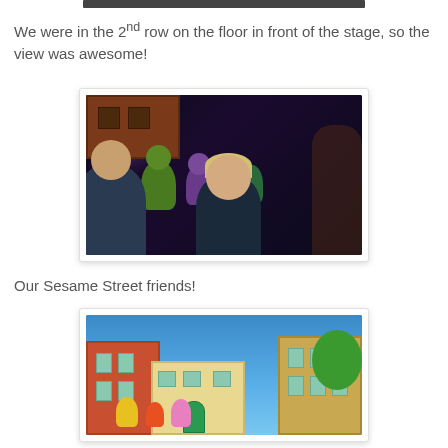[Figure (photo): Partial top edge of a photo visible at the very top of the page]
We were in the 2nd row on the floor in front of the stage, so the view was awesome!
[Figure (photo): Photo of a Sesame Street live show taken from the 2nd row audience perspective. Costumed characters on stage including green and purple monsters, with audience members visible in foreground — a man in blue and a blonde woman holding a child.]
Our Sesame Street friends!
[Figure (photo): Photo of the Sesame Street live show stage set featuring building facades in red and tan brick, a green door, and costumed Sesame Street characters including yellow, red, and pink muppets at the bottom.]